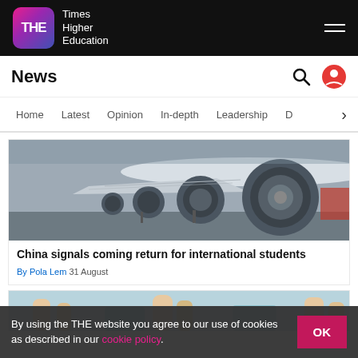THE Times Higher Education
News
Home  Latest  Opinion  In-depth  Leadership  D
[Figure (photo): Close-up of commercial airplane engines on tarmac, multiple jet engines visible in a row]
China signals coming return for international students
By Pola Lem  31 August
[Figure (photo): Partial image of people raising hands]
By using the THE website you agree to our use of cookies as described in our cookie policy.